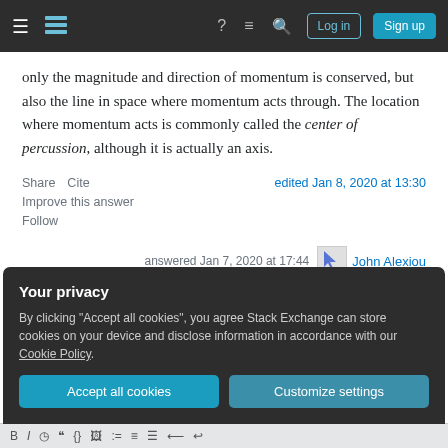Stack Exchange navigation bar with Log in and Sign up buttons
only the magnitude and direction of momentum is conserved, but also the line in space where momentum acts through. The location where momentum acts is commonly called the center of percussion, although it is actually an axis.
Share  Cite
Improve this answer
Follow
edited Jan 8, 2020 at 13:30
answered Jan 7, 2020 at 17:44
John Alexiou
Your privacy
By clicking "Accept all cookies", you agree Stack Exchange can store cookies on your device and disclose information in accordance with our Cookie Policy.
Accept all cookies  Customize settings